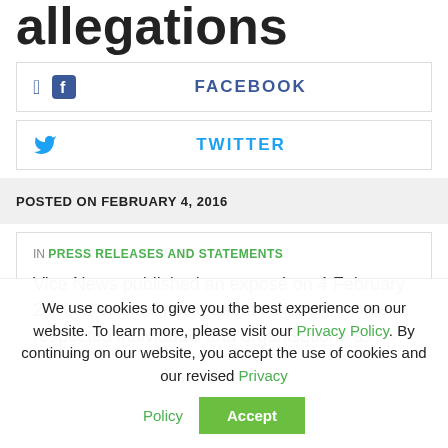allegations
FACEBOOK
TWITTER
POSTED ON FEBRUARY 4, 2016
IN PRESS RELEASES AND STATEMENTS
Vice News published an exposé on 4 February 2016 of World Check, about its labelling respected individuals and organisations as
We use cookies to give you the best experience on our website. To learn more, please visit our Privacy Policy. By continuing on our website, you accept the use of cookies and our revised Privacy Policy